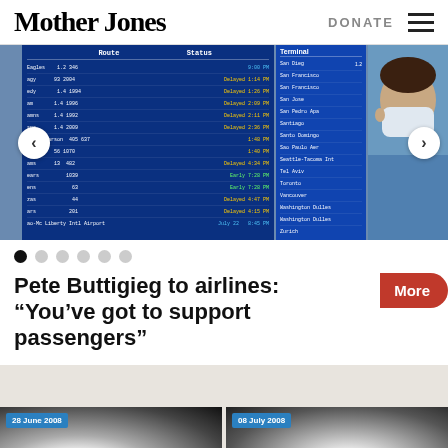Mother Jones | DONATE
[Figure (photo): Airport departure board with flight information and a person wearing a face mask looking at terminal information screens]
Pete Buttigieg to airlines: “You’ve got to support passengers”
[Figure (photo): Photo dated 28 June 2008 showing white powder/substance on dark surface]
[Figure (photo): Photo dated 08 July 2008 showing similar white powder/substance on dark surface]